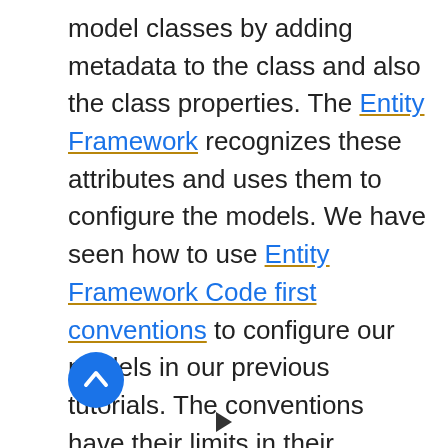model classes by adding metadata to the class and also the class properties. The Entity Framework recognizes these attributes and uses them to configure the models. We have seen how to use Entity Framework Code first conventions to configure our models in our previous tutorials. The conventions have their limits in their functionalities. .Data Annotations in Entity Framework allow us to further fine-tune the model. They override the conventions.
[Figure (other): Blue circular scroll-to-top button with upward chevron arrow]
[Figure (other): Navigation arrow pointing right at bottom of page]